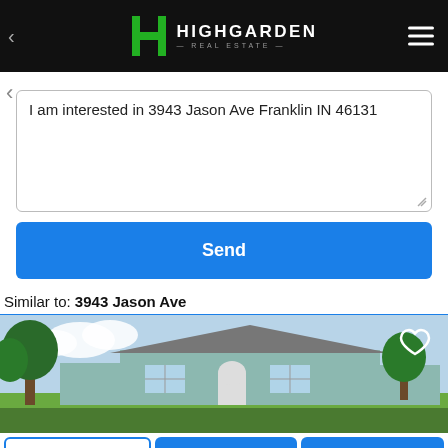[Figure (logo): Highgarden Real Estate logo with green H icon and white text on black background, plus hamburger menu icon on right]
I am interested in 3943 Jason Ave Franklin IN 46131
Send
Similar to: 3943 Jason Ave
[Figure (photo): Photo of a single-story house with blue/gray siding, arched entryway, large tree in front, green lawn, and a heart/favorite icon overlay in top right corner]
Call Agent
Message Agent
Schedule Tour